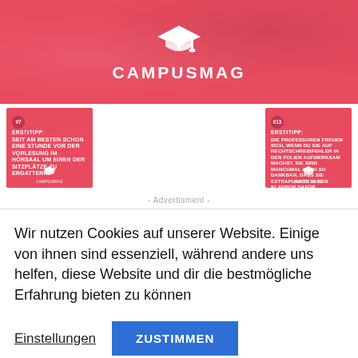[Figure (logo): CampusMag logo on red background with graduation cap icon and text CAMPUSMAG]
[Figure (illustration): Red card #7 with ERSTITIPP text: SEIT AM BESTEN SCHON EINE STUNDE VOR DER VORLESUNG IM HÖRSAAL UM EINEN DER SITZPLÄTZE ZU ERGATTERN.]
[Figure (illustration): Red card #13 with ERSTITIPP text: DIE PROFESSOREN FREUEN SICH, WENN DU SIE AUF RECHTSCHREIBFEHLER IN DEN FOLIEN AUFMERKSAM MACHST. SIE SIND MANCHMAL AUCH SO DANKBAR, DASS SIE EXTRAPUNKTE IN DER KLAUSUR DAFÜR VERGEBEN.]
- Advertisment -
Wir nutzen Cookies auf unserer Website. Einige von ihnen sind essenziell, während andere uns helfen, diese Website und dir die bestmögliche Erfahrung bieten zu können
Einstellungen
ZUSTIMMEN